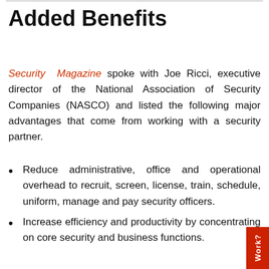Added Benefits
Security Magazine spoke with Joe Ricci, executive director of the National Association of Security Companies (NASCO) and listed the following major advantages that come from working with a security partner.
Reduce administrative, office and operational overhead to recruit, screen, license, train, schedule, uniform, manage and pay security officers.
Increase efficiency and productivity by concentrating on core security and business functions.